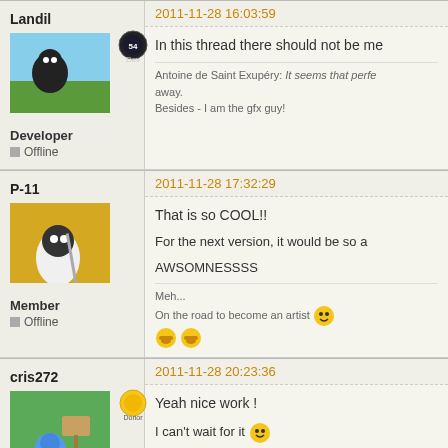Landil
Developer
Offline
2011-11-28 16:03:59
In this thread there should not be me...
Antoine de Saint Exupéry: It seems that perfe... away. Besides - I am the gfx guy!
P-11
Member
Offline
2011-11-28 17:32:29
That is so COOL!!
For the next version, it would be so a...
AWSOMNESSSS
Meh... On the road to become an artist
cris272
2011-11-28 20:23:36
Yeah nice work !
I can't wait for it